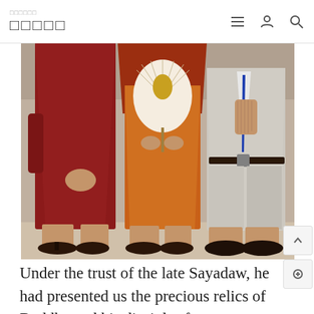□□□□□
[Figure (photo): Three figures standing side by side: two Buddhist monks in dark red and orange robes, and one layperson in a light gray suit with a blue tie. The center monk holds a decorative fan with a golden Buddha figure. All figures are photographed from the neck down. The two monks wear sandals; the layperson wears dark shoes.]
Under the trust of the late Sayadaw, he had presented us the precious relics of Buddha and his disciples for enshrinement.In year 2019, the late Sayadaw was ope